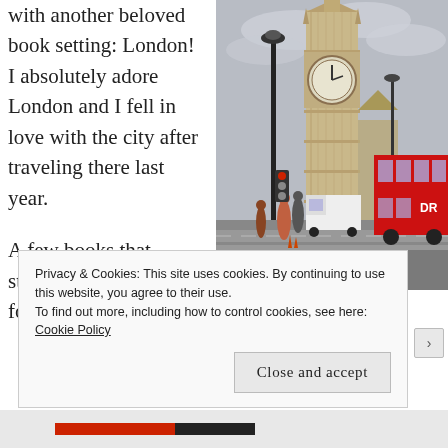with another beloved book setting: London! I absolutely adore London and I fell in love with the city after traveling there last year.
[Figure (photo): Photo of Big Ben and Westminster area in London with a red double-decker bus and street lamp in the foreground, overcast sky]
A few books that strengthened my love for London include:
Privacy & Cookies: This site uses cookies. By continuing to use this website, you agree to their use. To find out more, including how to control cookies, see here: Cookie Policy
Close and accept